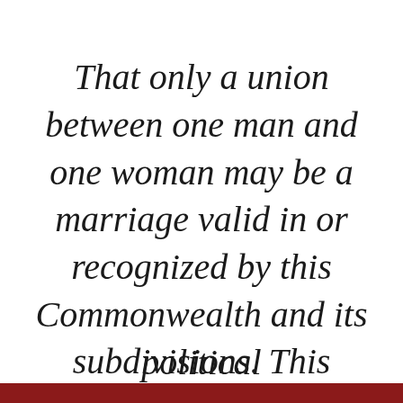That only a union between one man and one woman may be a marriage valid in or recognized by this Commonwealth and its political subdivisions. This